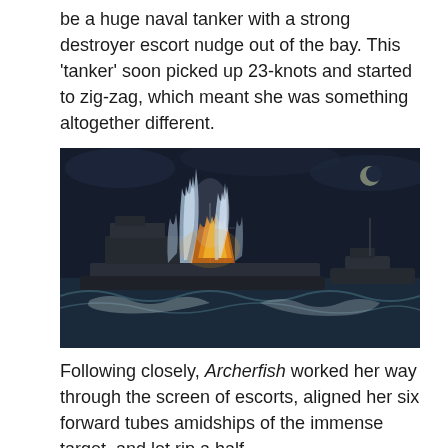be a huge naval tanker with a strong destroyer escort nudge out of the bay. This 'tanker' soon picked up 23-knots and started to zig-zag, which meant she was something altogether different.
[Figure (illustration): A dramatic painting depicting a large warship at night being struck by torpedoes or bombs, with tall columns of white and blue water and orange fire erupting amidships. A second vessel is visible to the right. The sea is rough with white-capped waves.]
Following closely, Archerfish worked her way through the screen of escorts, aligned her six forward tubes amidships of the immense target, and let rip a half-